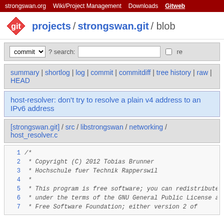strongswan.org | Wiki/Project Management | Downloads | Gitweb
git projects / strongswan.git / blob
commit ? search: re
summary | shortlog | log | commit | commitdiff | tree history | raw | HEAD
host-resolver: don't try to resolve a plain v4 address to an IPv6 address
[strongswan.git] / src / libstrongswan / networking / host_resolver.c
1 /*
2  * Copyright (C) 2012 Tobias Brunner
3  * Hochschule fuer Technik Rapperswil
4  *
5  * This program is free software; you can redistribute it and/or modify it
6  * under the terms of the GNU General Public License as published by the
7  * Free Software Foundation; either version 2 of